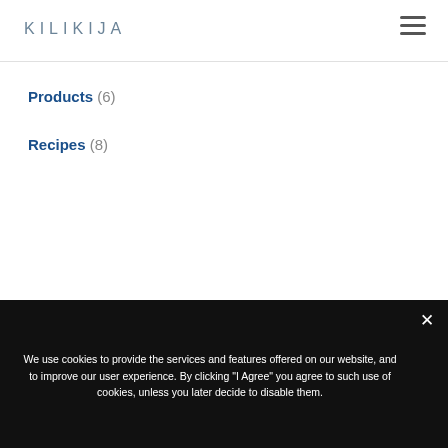KILIKIJA
Products (6)
Recipes (8)
About us
We use cookies to provide the services and features offered on our website, and to improve our user experience. By clicking "I Agree" you agree to such use of cookies, unless you later decide to disable them.